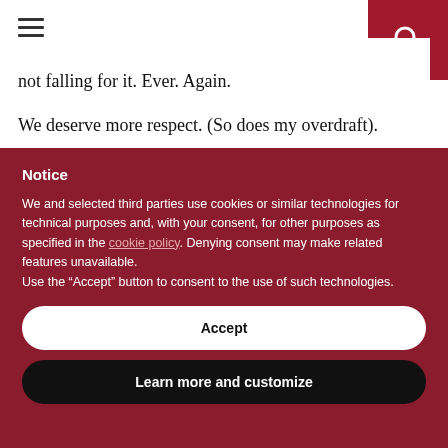not falling for it. Ever. Again.
We deserve more respect. (So does my overdraft).
Notice
We and selected third parties use cookies or similar technologies for technical purposes and, with your consent, for other purposes as specified in the cookie policy. Denying consent may make related features unavailable.
Use the “Accept” button to consent to the use of such technologies.
Accept
Learn more and customize